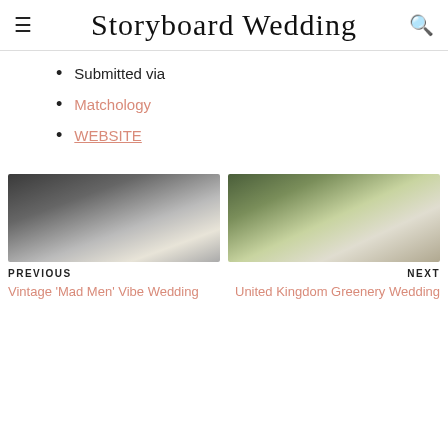Storyboard Wedding
Submitted via
Matchology
WEBSITE
[Figure (photo): Wedding couple standing in front of a vintage white Rolls-Royce car on a cobblestone driveway]
[Figure (photo): Bride in white gown with floral crown and groom in dark maroon suit walking outdoors among trees]
PREVIOUS
Vintage 'Mad Men' Vibe Wedding
NEXT
United Kingdom Greenery Wedding